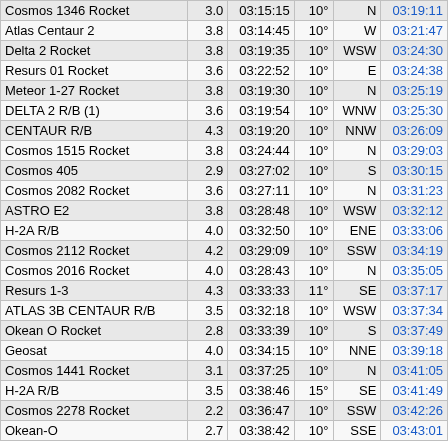| Name | Mag | Rise | Elev | Dir | Time |
| --- | --- | --- | --- | --- | --- |
| Cosmos 1346 Rocket | 3.0 | 03:15:15 | 10° | N | 03:19:11 |
| Atlas Centaur 2 | 3.8 | 03:14:45 | 10° | W | 03:21:47 |
| Delta 2 Rocket | 3.8 | 03:19:35 | 10° | WSW | 03:24:30 |
| Resurs 01 Rocket | 3.6 | 03:22:52 | 10° | E | 03:24:38 |
| Meteor 1-27 Rocket | 3.8 | 03:19:30 | 10° | N | 03:25:19 |
| DELTA 2 R/B (1) | 3.6 | 03:19:54 | 10° | WNW | 03:25:30 |
| CENTAUR R/B | 4.3 | 03:19:20 | 10° | NNW | 03:26:09 |
| Cosmos 1515 Rocket | 3.8 | 03:24:44 | 10° | N | 03:29:03 |
| Cosmos 405 | 2.9 | 03:27:02 | 10° | S | 03:30:15 |
| Cosmos 2082 Rocket | 3.6 | 03:27:11 | 10° | N | 03:31:23 |
| ASTRO E2 | 3.8 | 03:28:48 | 10° | WSW | 03:32:12 |
| H-2A R/B | 4.0 | 03:32:50 | 10° | ENE | 03:33:06 |
| Cosmos 2112 Rocket | 4.2 | 03:29:09 | 10° | SSW | 03:34:19 |
| Cosmos 2016 Rocket | 4.0 | 03:28:43 | 10° | N | 03:35:05 |
| Resurs 1-3 | 4.3 | 03:33:33 | 11° | SE | 03:37:17 |
| ATLAS 3B CENTAUR R/B | 3.5 | 03:32:18 | 10° | WSW | 03:37:34 |
| Okean O Rocket | 2.8 | 03:33:39 | 10° | S | 03:37:49 |
| Geosat | 4.0 | 03:34:15 | 10° | NNE | 03:39:18 |
| Cosmos 1441 Rocket | 3.1 | 03:37:25 | 10° | N | 03:41:05 |
| H-2A R/B | 3.5 | 03:38:46 | 15° | SE | 03:41:49 |
| Cosmos 2278 Rocket | 2.2 | 03:36:47 | 10° | SSW | 03:42:26 |
| Okean-O | 2.7 | 03:38:42 | 10° | SSE | 03:43:01 |